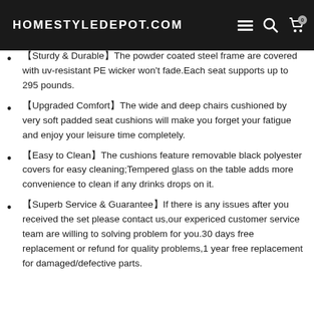HOMESTYLEDEPOT.COM
【Sturdy & Durable】The powder coated steel frame are covered with uv-resistant PE wicker won't fade.Each seat supports up to 295 pounds.
【Upgraded Comfort】The wide and deep chairs cushioned by very soft padded seat cushions will make you forget your fatigue and enjoy your leisure time completely.
【Easy to Clean】The cushions feature removable black polyester covers for easy cleaning;Tempered glass on the table adds more convenience to clean if any drinks drops on it.
【Superb Service & Guarantee】If there is any issues after you received the set please contact us,our expericed customer service team are willing to solving problem for you.30 days free replacement or refund for quality problems,1 year free replacement for damaged/defective parts.